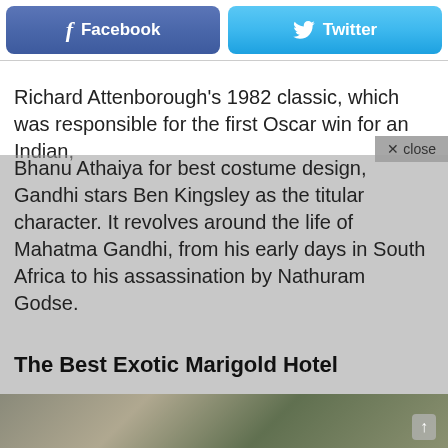[Figure (other): Facebook and Twitter share buttons at the top of a webpage]
Richard Attenborough’s 1982 classic, which was responsible for the first Oscar win for an Indian, Bhanu Athaiya for best costume design, Gandhi stars Ben Kingsley as the titular character. It revolves around the life of Mahatma Gandhi, from his early days in South Africa to his assassination by Nathuram Godse.
The Best Exotic Marigold Hotel
[Figure (photo): Partial photo of people from The Best Exotic Marigold Hotel]